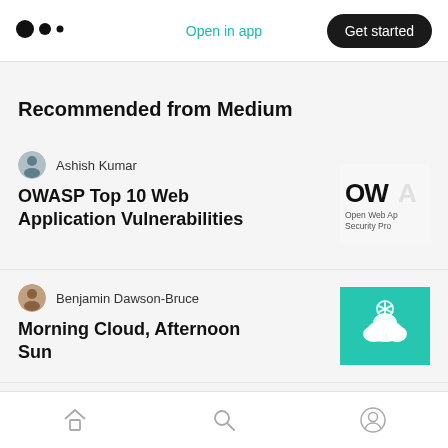Open in app | Get started
Recommended from Medium
Ashish Kumar
OWASP Top 10 Web Application Vulnerabilities
[Figure (logo): OWASP logo with text 'Open Web Application Security Pro']
Benjamin Dawson-Bruce
Morning Cloud, Afternoon Sun
[Figure (illustration): Teal/green square thumbnail with cloud and snowflake icons]
James Smith
[Figure (screenshot): Partially visible article thumbnail showing a table/document]